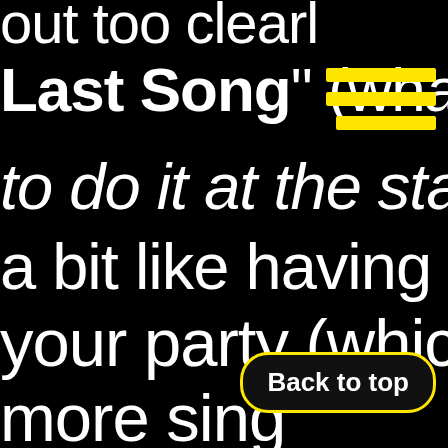out too clearly d
Last Song" (what b
to do it at the start o
a bit like having yo
your party (which it
more sing h
[Figure (other): Yellow hamburger menu icon with three horizontal yellow bars]
Back to top